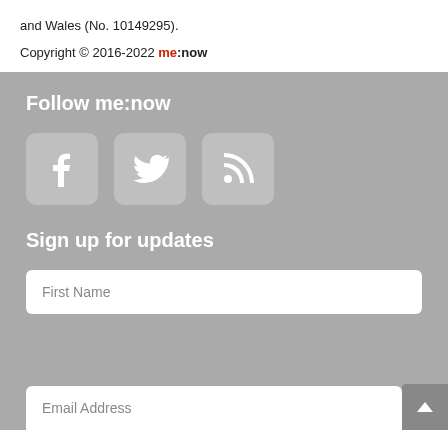and Wales (No. 10149295).
Copyright © 2016-2022 me:now
Follow me:now
[Figure (infographic): Three social media icon buttons: Facebook, Twitter, RSS feed]
Sign up for updates
First Name
Email Address